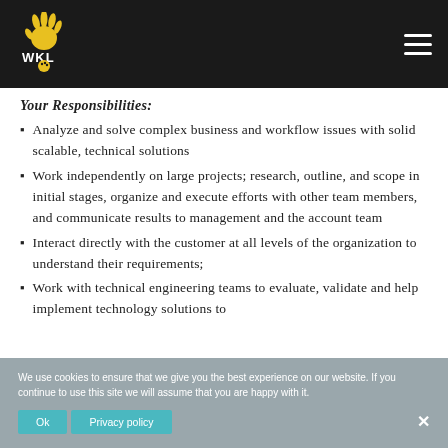WKL logo and navigation header
Your Responsibilities:
Analyze and solve complex business and workflow issues with solid scalable, technical solutions
Work independently on large projects; research, outline, and scope in initial stages, organize and execute efforts with other team members, and communicate results to management and the account team
Interact directly with the customer at all levels of the organization to understand their requirements;
Work with technical engineering teams to evaluate, validate and help implement technology solutions to
We use cookies to ensure that we give you the best experience on our website. If you continue to use this site we will assume that you are happy with it.